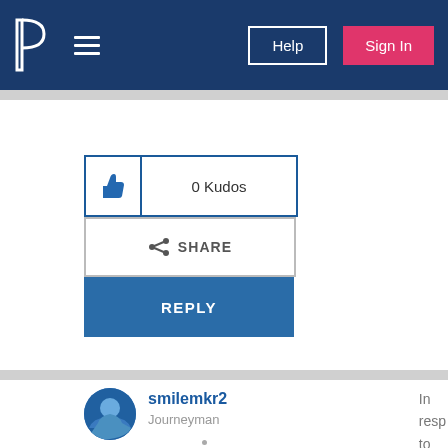P  ≡  Help  Sign In
[Figure (screenshot): Kudos button with thumbs up icon and '0 Kudos' label]
0 Kudos
SHARE
REPLY
smilemkr2
Journeyman
In resp to jam